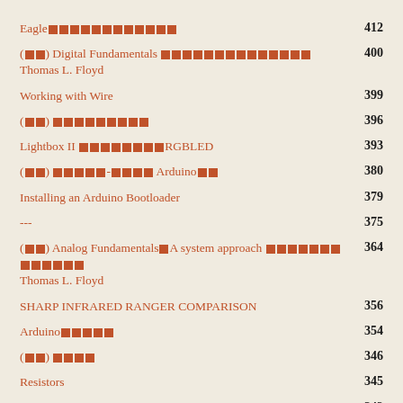Eagle■■■■■■■■■■■■ 412
(■■) Digital Fundamentals ■■■■■■■■■■■■■■ Thomas L. Floyd 400
Working with Wire 399
(■■) ■■■■■■■■■ 396
Lightbox II ■■■■■■■■RGBLED 393
(■■) ■■■■■-■■■■ Arduino■■ 380
Installing an Arduino Bootloader 379
--- 375
(■■) Analog Fundamentals■A system approach ■■■■■■■■■■■■■ Thomas L. Floyd 364
SHARP INFRARED RANGER COMPARISON 356
Arduino■■■■■ 354
(■■) ■■■■ 346
Resistors 345
Arduino■■■■■■■ 342